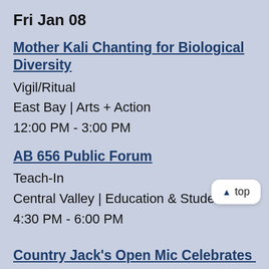Fri Jan 08
Mother Kali Chanting for Biological Diversity
Vigil/Ritual
East Bay | Arts + Action
12:00 PM - 3:00 PM
AB 656 Public Forum
Teach-In
Central Valley | Education & Student A…
4:30 PM - 6:00 PM
Country Jack's Open Mic Celebrates 1st…